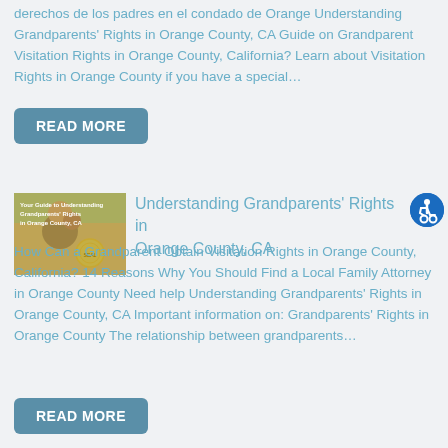derechos de los padres en el condado de Orange Understanding Grandparents' Rights in Orange County, CA Guide on Grandparent Visitation Rights in Orange County, California? Learn about Visitation Rights in Orange County if you have a special…
READ MORE
[Figure (photo): Thumbnail image showing an elderly man with a child on his shoulders, with text overlay reading 'Your Guide to Understanding Grandparents' Rights in Orange County, CA']
Understanding Grandparents' Rights in Orange County, CA
How Can a Grandparent Obtain Visitation Rights in Orange County, California? 14 Reasons Why You Should Find a Local Family Attorney in Orange County Need help Understanding Grandparents' Rights in Orange County, CA Important information on: Grandparents' Rights in Orange County The relationship between grandparents…
READ MORE